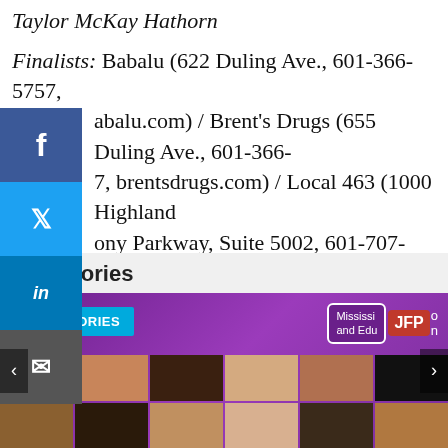Taylor McKay Hathorn
Finalists: Babalu (622 Duling Ave., 601-366-5757, babalu.com) / Brent's Drugs (655 Duling Ave., 601-366-[...], brentsdrugs.com) / Local 463 (1000 Highland Colony Parkway, Suite 5002, 601-707-7684, local463.com) / The Village Kitchen (219 W. County Line Rd, 769-524-4575, facebook.com/thevillagekitchen219)
[Figure (screenshot): Social media sharing sidebar with Facebook, Twitter, LinkedIn, and Email buttons on the left side of the page]
Top Stories
[Figure (photo): Top Stories carousel showing a purple banner with 'TOP STORIES' cyan button and Mississippi JFP logo badge, with a grid of portrait photos of various people below]